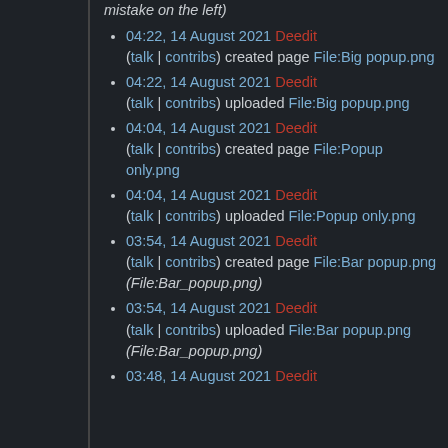mistake on the left)
04:22, 14 August 2021 Deedit (talk | contribs) created page File:Big popup.png
04:22, 14 August 2021 Deedit (talk | contribs) uploaded File:Big popup.png
04:04, 14 August 2021 Deedit (talk | contribs) created page File:Popup only.png
04:04, 14 August 2021 Deedit (talk | contribs) uploaded File:Popup only.png
03:54, 14 August 2021 Deedit (talk | contribs) created page File:Bar popup.png (File:Bar_popup.png)
03:54, 14 August 2021 Deedit (talk | contribs) uploaded File:Bar popup.png (File:Bar_popup.png)
03:48, 14 August 2021 Deedit